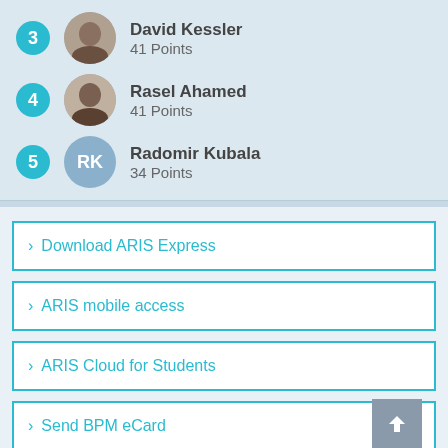3 David Kessler 41 Points
4 Rasel Ahamed 41 Points
5 RK Radomir Kubala 34 Points
> Download ARIS Express
> ARIS mobile access
> ARIS Cloud for Students
> Send BPM eCard